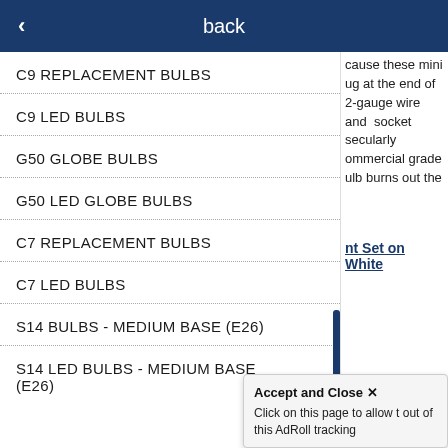back
C9 REPLACEMENT BULBS
C9 LED BULBS
G50 GLOBE BULBS
G50 LED GLOBE BULBS
C7 REPLACEMENT BULBS
C7 LED BULBS
S14 BULBS - MEDIUM BASE (E26)
S14 LED BULBS - MEDIUM BASE (E26)
cause these mini ug at the end of 2-gauge wire and socket secularly ommercial grade ulb burns out the
nt Set on White
Accept and Close ×
Click on this page to allow t out of this AdRoll tracking